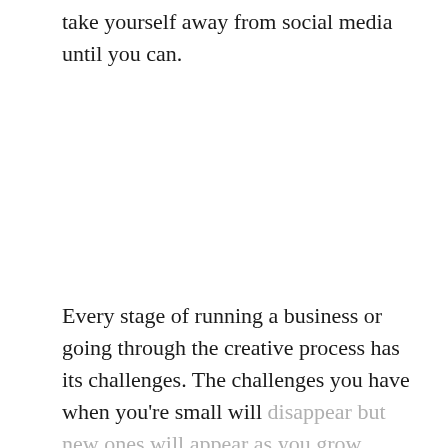take yourself away from social media until you can.
Every stage of running a business or going through the creative process has its challenges. The challenges you have when you're small will disappear but new ones will appear as you grow. Those who seem so much further ahead of you